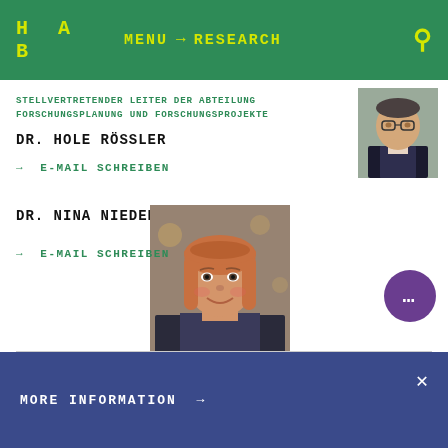H A B  MENU → RESEARCH
STELLVERTRETENDER LEITER DER ABTEILUNG FORSCHUNGSPLANUNG UND FORSCHUNGSPROJEKTE
DR. HOLE RÖSSLER
[Figure (photo): Headshot of Dr. Hole Rössler, male, glasses, dark suit]
→ E-MAIL SCHREIBEN
DR. NINA NIEDERMEIER
[Figure (photo): Headshot of Dr. Nina Niedermeier, female, reddish-blonde hair, smiling]
→ E-MAIL SCHREIBEN
MORE INFORMATION →